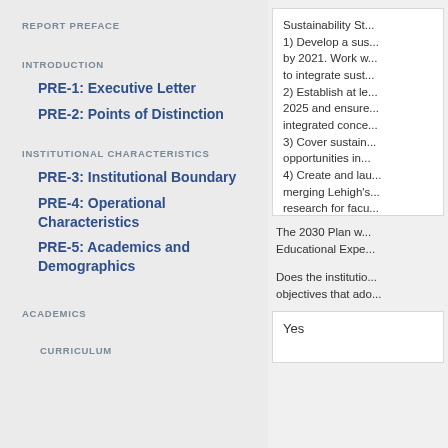REPORT PREFACE
INTRODUCTION
PRE-1: Executive Letter
PRE-2: Points of Distinction
INSTITUTIONAL CHARACTERISTICS
PRE-3: Institutional Boundary
PRE-4: Operational Characteristics
PRE-5: Academics and Demographics
ACADEMICS
CURRICULUM
Sustainability St... 1) Develop a sus... by 2021. Work w... to integrate sust... 2) Establish at le... 2025 and ensure... integrated conce... 3) Cover sustain... opportunities in... 4) Create and lau... merging Lehigh's... research for facu... provide support...
The 2030 Plan w... Educational Expe...
Does the institutio... objectives that ado...
Yes